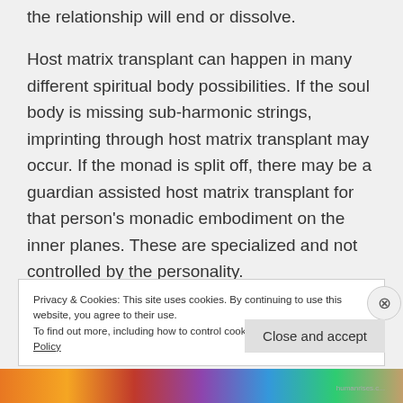the relationship will end or dissolve.
Host matrix transplant can happen in many different spiritual body possibilities. If the soul body is missing sub-harmonic strings, imprinting through host matrix transplant may occur. If the monad is split off, there may be a guardian assisted host matrix transplant for that person’s monadic embodiment on the inner planes. These are specialized and not controlled by the personality.
Privacy & Cookies: This site uses cookies. By continuing to use this website, you agree to their use.
To find out more, including how to control cookies, see here: Cookie Policy
Close and accept